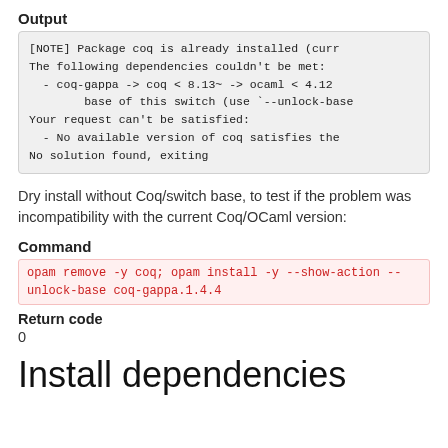Output
[NOTE] Package coq is already installed (curr
The following dependencies couldn't be met:
  - coq-gappa -> coq < 8.13~ -> ocaml < 4.12
        base of this switch (use `--unlock-base
Your request can't be satisfied:
  - No available version of coq satisfies the
No solution found, exiting
Dry install without Coq/switch base, to test if the problem was incompatibility with the current Coq/OCaml version:
Command
opam remove -y coq; opam install -y --show-action --unlock-base coq-gappa.1.4.4
Return code
0
Install dependencies